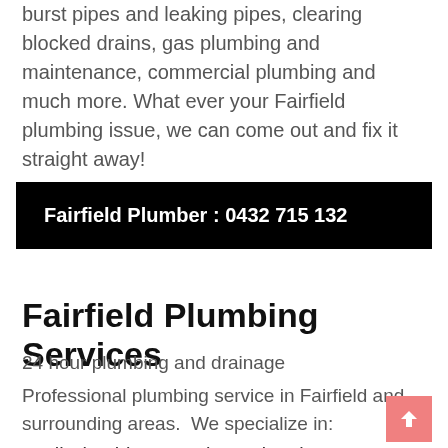burst pipes and leaking pipes, clearing blocked drains, gas plumbing and maintenance, commercial plumbing and much more. What ever your Fairfield plumbing issue, we can come out and fix it straight away!
Fairfield Plumber : 0432 715 132
Fairfield Plumbing Services
24 hour plumbing and drainage
Professional plumbing service in Fairfield and surrounding areas.  We specialize in:
All Plumbing Repairs and Maintenance
Blocked drains / slow drains – jet rodding specialist
Hot water system repairs and replacement